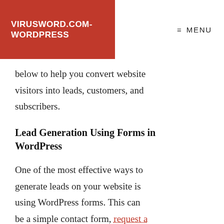VIRUSWORD.COM-WORDPRESS
MENU
below to help you convert website visitors into leads, customers, and subscribers.
Lead Generation Using Forms in WordPress
One of the most effective ways to generate leads on your website is using WordPress forms. This can be a simple contact form, request a quote form, general interest form,